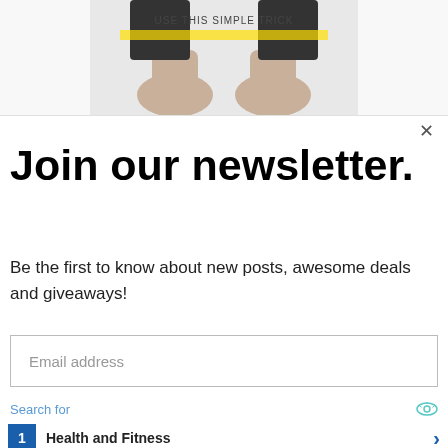[Figure (photo): Cropped image of feet/ankles with text 'USE THIS SIMPLE TRICK' and a yellow highlighted line, shown at top of page]
Join our newsletter.
Be the first to know about new posts, awesome deals and giveaways!
Email address
Subscribe
Search for
1 Health and Fitness
2 Make Money Online